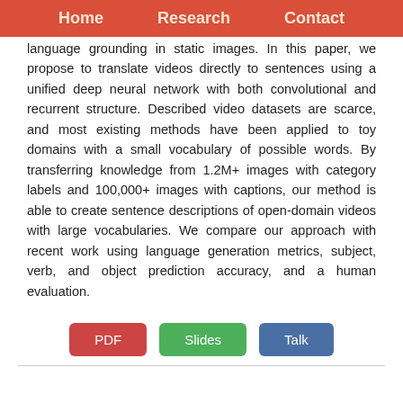Home   Research   Contact
language grounding in static images. In this paper, we propose to translate videos directly to sentences using a unified deep neural network with both convolutional and recurrent structure. Described video datasets are scarce, and most existing methods have been applied to toy domains with a small vocabulary of possible words. By transferring knowledge from 1.2M+ images with category labels and 100,000+ images with captions, our method is able to create sentence descriptions of open-domain videos with large vocabularies. We compare our approach with recent work using language generation metrics, subject, verb, and object prediction accuracy, and a human evaluation.
[Figure (other): Three navigation buttons: PDF (red), Slides (green), Talk (blue)]
Overview